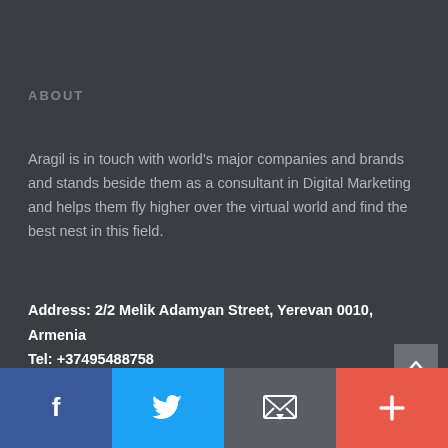ABOUT
Aragil is in touch with world’s major companies and brands and stands beside them as a consultant in Digital Marketing and helps them fly higher over the virtual world and find the best nest in this field.
Address: 2/2 Melik Adamyan Street, Yerevan 0010, Armenia
Tel: +37495488758
f  [twitter]  [email]  +